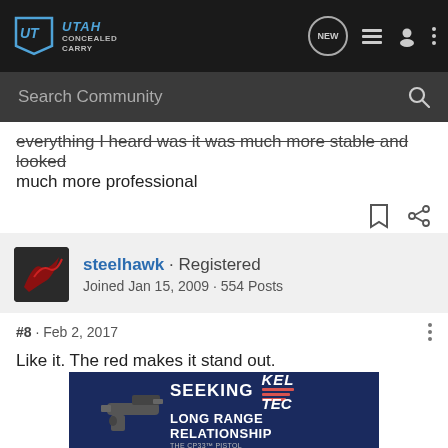[Figure (screenshot): Utah Concealed Carry forum navigation bar with logo and icons]
[Figure (screenshot): Search Community search bar]
everything I heard was it was much more stable and looked much more professional
steelhawk · Registered
Joined Jan 15, 2009 · 554 Posts
#8 · Feb 2, 2017
Like it. The red makes it stand out.
[Figure (advertisement): Kel-Tec CP33 Pistol advertisement: SEEKING LONG RANGE RELATIONSHIP]